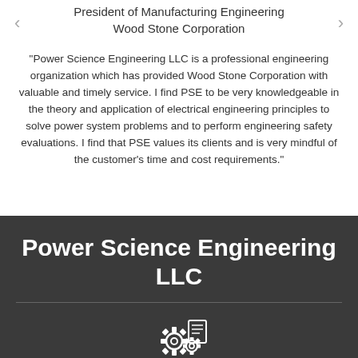President of Manufacturing Engineering
Wood Stone Corporation
"Power Science Engineering LLC is a professional engineering organization which has provided Wood Stone Corporation with valuable and timely service. I find PSE to be very knowledgeable in the theory and application of electrical engineering principles to solve power system problems and to perform engineering safety evaluations. I find that PSE values its clients and is very mindful of the customer's time and cost requirements."
Power Science Engineering LLC
[Figure (logo): Engineering gear/cog icon in white on dark background]